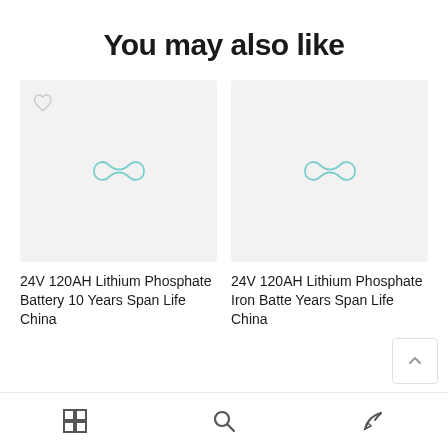You may also like
[Figure (screenshot): Product card image placeholder with teal infinity-style logo for '24V 120AH Lithium Phosphate Battery 10 Years Span Life China', with a heart icon in top-left corner]
24V 120AH Lithium Phosphate Battery 10 Years Span Life China
[Figure (screenshot): Product card image placeholder with teal infinity-style logo for '24V 120AH Lithium Phosphate Iron Battery Years Span Life China']
24V 120AH Lithium Phosphate Iron Batte Years Span Life China
Grid icon | Search icon | Pen icon